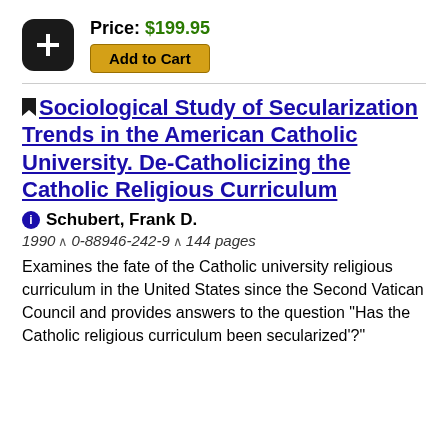Price: $199.95
Add to Cart
Sociological Study of Secularization Trends in the American Catholic University. De-Catholicizing the Catholic Religious Curriculum
Schubert, Frank D.
1990 ∧ 0-88946-242-9 ∧ 144 pages
Examines the fate of the Catholic university religious curriculum in the United States since the Second Vatican Council and provides answers to the question "Has the Catholic religious curriculum been secularized'?"